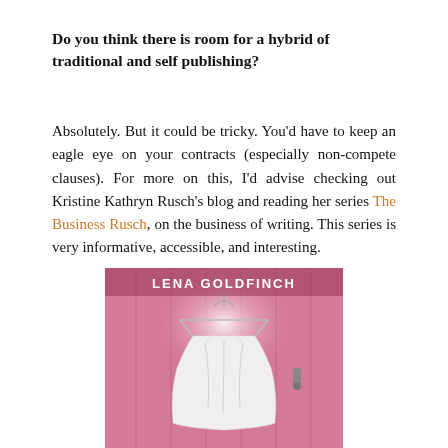Do you think there is room for a hybrid of traditional and self publishing?
Absolutely. But it could be tricky. You'd have to keep an eagle eye on your contracts (especially non-compete clauses). For more on this, I'd advise checking out Kristine Kathryn Rusch's blog and reading her series The Business Rusch, on the business of writing. This series is very informative, accessible, and interesting.
[Figure (photo): Book cover image with pink background showing a white dress on a hanger. Author name 'LENA GOLDFINCH' at top in white text.]